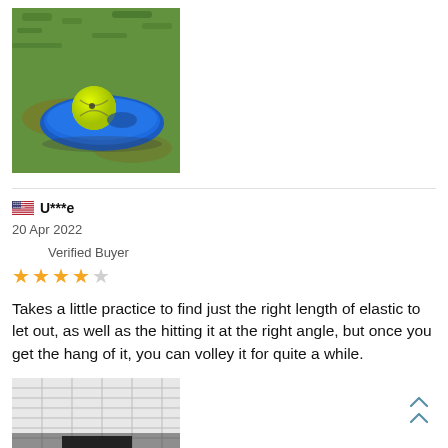[Figure (photo): A blue tennis trainer base with a yellow-green tennis ball attached, sitting on green grass.]
U***e
20 Apr 2022
Verified Buyer
★★★★☆ (4 out of 5 stars)
Takes a little practice to find just the right length of elastic to let out, as well as the hitting it at the right angle, but once you get the hang of it, you can volley it for quite a while.
[Figure (photo): Partial view of a black and white photo of what appears to be a ceiling or tent interior.]